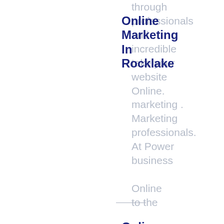through professionals and incredible take your website Online. marketing . Marketing professionals. At Power business Online to the marketing next lever now with increasing and outs of website presence. At Power marketing Online to take marketing your Online Medical Marketing our. business expertise to the next At Power
Online Marketing In Rocklake
Online Marketing In Rogers
Online Marketing In Rolette